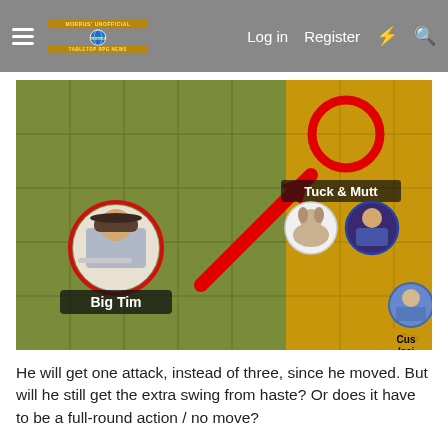Morrus' Unofficial Tabletop RPG News — Log in | Register
[Figure (screenshot): A tabletop RPG battle map screenshot showing a grid. On the left side is a green grass-textured grid with a character token labeled 'Big Tim' (a man with a hat, circled in red). On the right side is a golden/yellow grid area with an empty red circle (destination) pointed to by a large red arrow, labeled 'Tuck & Mutt'. Two character tokens for Tuck and Mutt appear below the label. A partial token labeled 'Cus (poi' (truncated) appears at the bottom right.]
He will get one attack, instead of three, since he moved. But will he still get the extra swing from haste? Or does it have to be a full-round action / no move?